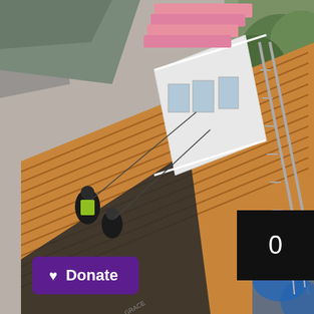[Figure (photo): Aerial/drone view from above of workers on a roof during construction or renovation. Workers in safety gear are visible on wooden roof decking with black underlayment labeled 'GRACE'. A white dormer window structure is visible, along with a long ladder leaning against the side. Pink insulation boards are stacked at the top. Trees and a yard are visible to the right. Construction materials and blue tarps visible at lower right.]
0
Donate